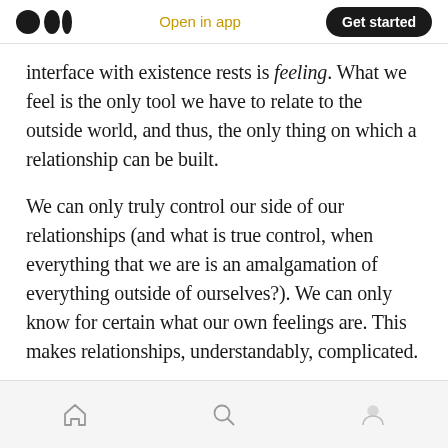Medium logo | Open in app | Get started
interface with existence rests is feeling. What we feel is the only tool we have to relate to the outside world, and thus, the only thing on which a relationship can be built.
We can only truly control our side of our relationships (and what is true control, when everything that we are is an amalgamation of everything outside of ourselves?). We can only know for certain what our own feelings are. This makes relationships, understandably, complicated.
Home | Search | Profile